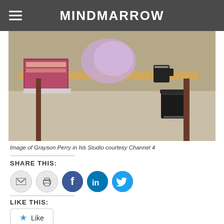MINDMARROW
[Figure (photo): Photograph of Grayson Perry's studio workspace showing books, supplies, a bucket, and table legs on a concrete floor]
Image of Grayson Perry in his Studio courtesy Channel 4
SHARE THIS:
[Figure (infographic): Row of social share icon buttons: email, print, Facebook, LinkedIn, Twitter]
LIKE THIS:
[Figure (infographic): Like button with star icon and text 'Like']
Be the first to like this.
Tagged: Art Newspaper, British Museum, Grayson Perry